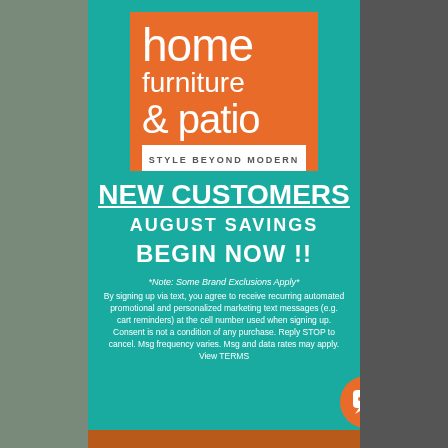[Figure (logo): Home Furniture & Patio logo with orange background and white text, tagline STYLE BEYOND MODERN]
NEW CUSTOMERS
AUGUST SAVINGS
BEGIN NOW !!
*Note: Some Brand Exclusions Apply*
By signing up via text, you agree to receive recurring automated promotional and personalized marketing text messages (e.g. cart reminders) at the cell number used when signing up. Consent is not a condition of any purchase. Reply STOP to cancel. Msg frequency varies. Msg and data rates may apply. View TERMS